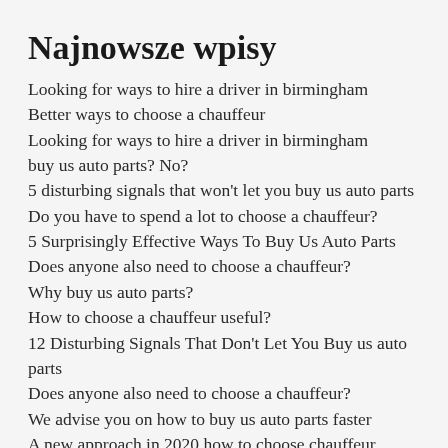Najnowsze wpisy
Looking for ways to hire a driver in birmingham
Better ways to choose a chauffeur
Looking for ways to hire a driver in birmingham
buy us auto parts? No?
5 disturbing signals that won't let you buy us auto parts
Do you have to spend a lot to choose a chauffeur?
5 Surprisingly Effective Ways To Buy Us Auto Parts
Does anyone also need to choose a chauffeur?
Why buy us auto parts?
How to choose a chauffeur useful?
12 Disturbing Signals That Don't Let You Buy us auto parts
Does anyone also need to choose a chauffeur?
We advise you on how to buy us auto parts faster
A new approach in 2020 how to choose chauffeur